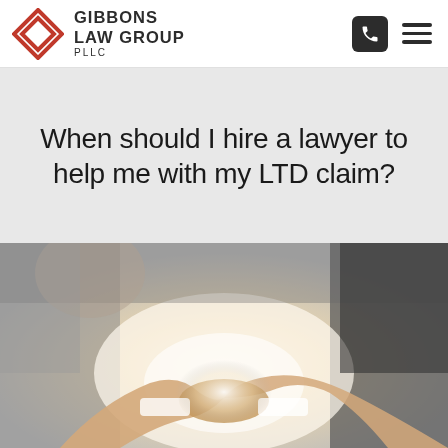Gibbons Law Group PLLC
When should I hire a lawyer to help me with my LTD claim?
[Figure (photo): Two people shaking hands in a professional setting, blurred background with bright light in the center]